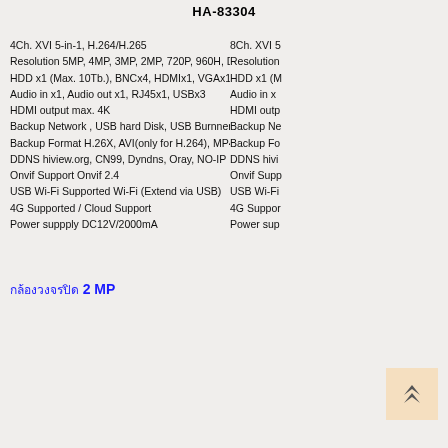HA-83304
4Ch. XVI 5-in-1, H.264/H.265
Resolution 5MP, 4MP, 3MP, 2MP, 720P, 960H, D1
HDD x1 (Max. 10Tb.), BNCx4, HDMIx1, VGAx1
Audio in x1, Audio out x1, RJ45x1, USBx3
HDMI output max. 4K
Backup Network , USB hard Disk, USB Burnner
Backup Format H.26X, AVI(only for H.264), MP4
DDNS hiview.org, CN99, Dyndns, Oray, NO-IP
Onvif Support Onvif 2.4
USB Wi-Fi Supported Wi-Fi (Extend via USB)
4G Supported / Cloud Support
Power suppply DC12V/2000mA
8Ch. XVI 5-in-1 (right column, partially cropped)
กล้องวงจรปิด 2 MP
[Figure (other): Back to top button with upward arrows icon on peach/orange background]